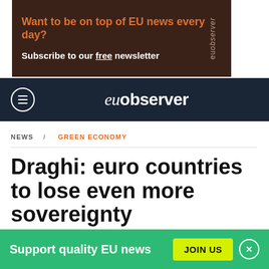[Figure (screenshot): EUobserver newsletter ad banner with dark brown background. Text: 'Want to be on top of EU news every day?' in orange bold, 'Subscribe to our free newsletter' in white bold. 'euobserver' text on the right side rotated vertically.]
euobserver
NEWS / GREEN ECONOMY
Draghi: euro countries to lose even more sovereignty
[Figure (photo): Dark photo strip showing people in background]
Support quality EU news
JOIN US